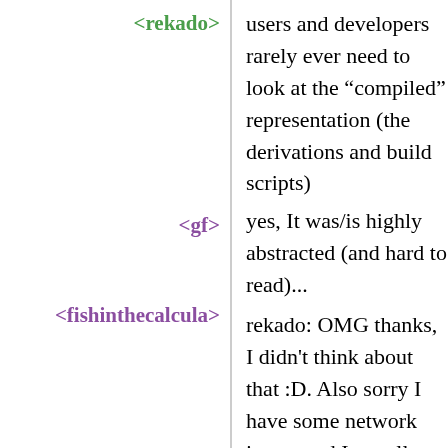<rekado>
users and developers rarely ever need to look at the “compiled” representation (the derivations and build scripts)
<gf>
yes, It was/is highly abstracted (and hard to read)...
<fishinthecalcula>
rekado: OMG thanks, I didn't think about that :D. Also sorry I have some network issues and I get all messages with like 3 minutes of delay :( I'll give a look